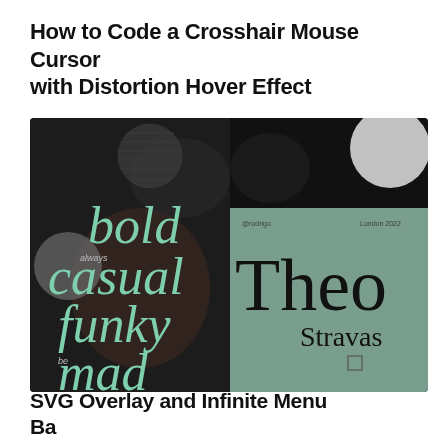How to Code a Crosshair Mouse Cursor with Distortion Hover Effect
[Figure (screenshot): A screenshot of a web design project showing two dark panels side by side. Left panel is black with mint/green italic serif text reading 'bold', 'casual', 'funky', 'mad' and the words 'always' and 'be' in small text with a grey circular shape. Right panel has a sage green background with large serif text 'Theo' and 'Stravas' and small text '@rodrigo' and 'London 2022'.]
SVG Overlay and Infinite Menu Background Animation